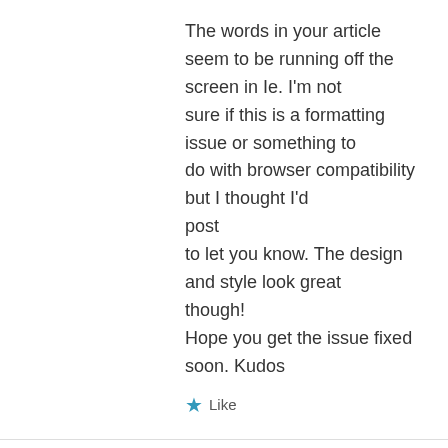The words in your article seem to be running off the screen in Ie. I'm not sure if this is a formatting issue or something to do with browser compatibility but I thought I'd post to let you know. The design and style look great though! Hope you get the issue fixed soon. Kudos
★ Like
Mad Boyz on July 21, 2013 at 12:42 am
Hi Veena,

Tried your Kerala Pepper Chicken today… Polichu… 😀